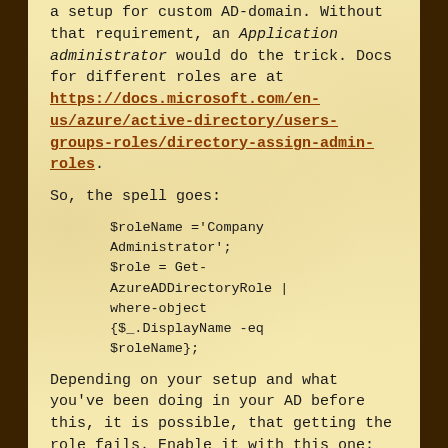a setup for custom AD-domain. Without that requirement, an Application administrator would do the trick. Docs for different roles are at https://docs.microsoft.com/en-us/azure/active-directory/users-groups-roles/directory-assign-admin-roles.
So, the spell goes:
Depending on your setup and what you've been doing in your AD before this, it is possible, that getting the role fails. Enable it with this one: